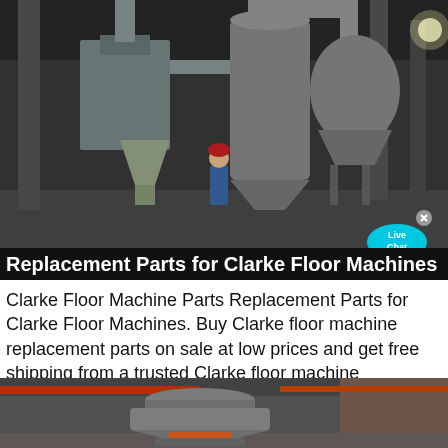[Figure (photo): Industrial factory interior showing large milling or grinding machines with ducts and pipes. A worker in blue jacket and red hard hat stands in the foreground.]
Replacement Parts for Clarke Floor Machines
Clarke Floor Machine Parts Replacement Parts for Clarke Floor Machines. Buy Clarke floor machine replacement parts on sale at low prices and get free shipping from a trusted Clarke floor machine
[Figure (photo): Industrial workshop showing a large gray cone-shaped machine component (likely a crusher or mill part) on a factory floor with red overhead crane beams visible.]